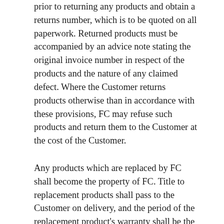prior to returning any products and obtain a returns number, which is to be quoted on all paperwork. Returned products must be accompanied by an advice note stating the original invoice number in respect of the products and the nature of any claimed defect. Where the Customer returns products otherwise than in accordance with these provisions, FC may refuse such products and return them to the Customer at the cost of the Customer.
Any products which are replaced by FC shall become the property of FC. Title to replacement products shall pass to the Customer on delivery, and the period of the replacement product's warranty shall be the unexpired period of the defective product's warranty.
The remedies set out above shall be FC's sole liability and the Customer's sole remedy for any breach of warranty and in respect of the supply or non-supply of